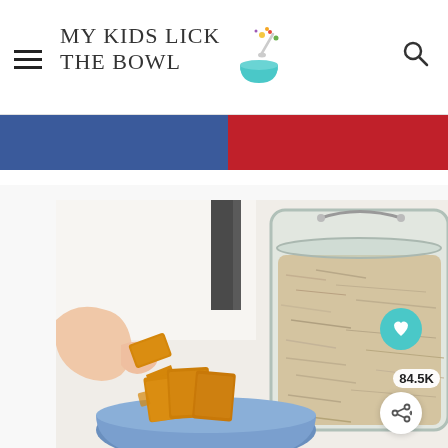MY KIDS LICK THE BOWL
[Figure (photo): A child's hand picking up an orange cracker/biscuit from a blue cup, next to a large glass jar filled with rolled oats, on a white background.]
84.5K